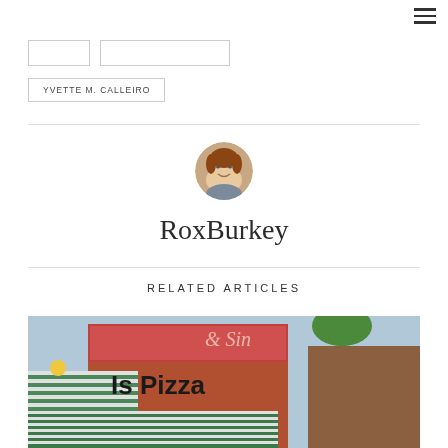navigation hamburger menu
YVETTE M. CALLEIRO
[Figure (photo): Circular avatar photo of RoxBurkey, a woman with reddish-brown hair smiling]
RoxBurkey
RELATED ARTICLES
[Figure (photo): Street scene photo of a storefront with green and white striped awning and text overlay reading 'Is Pizza']